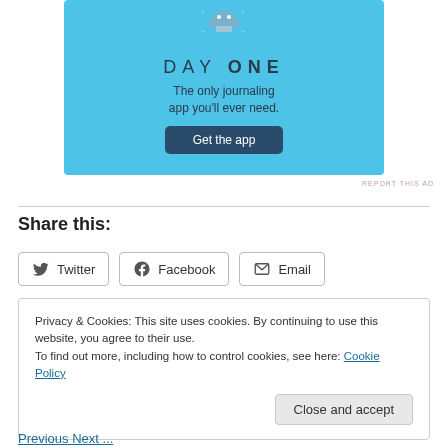[Figure (illustration): Day One journaling app advertisement banner with blue background. Shows 'DAY ONE' logo, tagline 'The only journaling app you'll ever need.' and a 'Get the app' button.]
REPORT THIS AD
Share this:
Twitter
Facebook
Email
Privacy & Cookies: This site uses cookies. By continuing to use this website, you agree to their use.
To find out more, including how to control cookies, see here: Cookie Policy
Close and accept